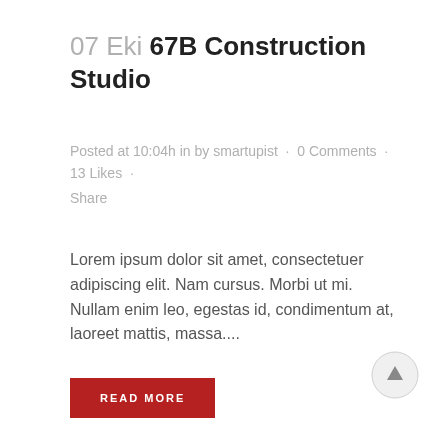07 Eki 67B Construction Studio
Posted at 10:04h in by smartupist · 0 Comments · 13 Likes · Share
Lorem ipsum dolor sit amet, consectetuer adipiscing elit. Nam cursus. Morbi ut mi. Nullam enim leo, egestas id, condimentum at, laoreet mattis, massa....
READ MORE